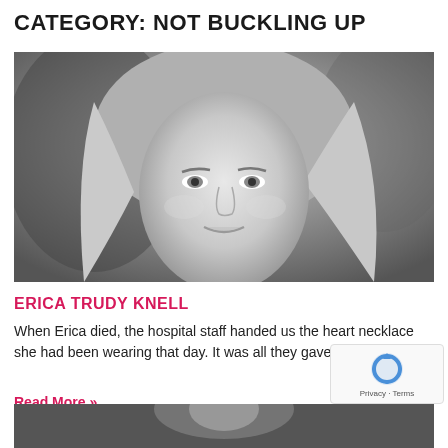CATEGORY: NOT BUCKLING UP
[Figure (photo): Black and white close-up portrait photo of a young blonde woman smiling, named Erica Trudy Knell]
ERICA TRUDY KNELL
When Erica died, the hospital staff handed us the heart necklace she had been wearing that day. It was all they gave us. It was
Read More »
[Figure (photo): Partial black and white portrait photo at the bottom of the page (cropped)]